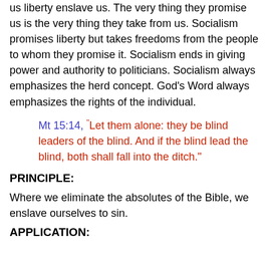us liberty enslave us. The very thing they promise us is the very thing they take from us. Socialism promises liberty but takes freedoms from the people to whom they promise it. Socialism ends in giving power and authority to politicians. Socialism always emphasizes the herd concept. God's Word always emphasizes the rights of the individual.
Mt 15:14, “Let them alone: they be blind leaders of the blind. And if the blind lead the blind, both shall fall into the ditch.”
PRINCIPLE:
Where we eliminate the absolutes of the Bible, we enslave ourselves to sin.
APPLICATION: